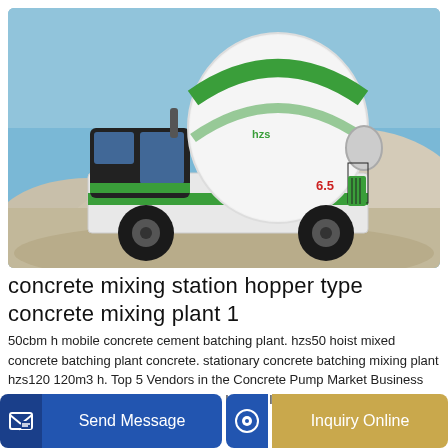[Figure (photo): Green and white self-loading concrete mixer truck on a sandy construction site with gravel mounds in the background. The truck has a large rotating drum mixer and is branded with '6.5' on the body.]
concrete mixing station hopper type concrete mixing plant 1
50cbm h mobile concrete cement batching plant. hzs50 hoist mixed concrete batching plant concrete. stationary concrete batching mixing plant hzs120 120m3 h. Top 5 Vendors in the Concrete Pump Market Business Wire. concrete mixer machine kenya. hopper lift concrete batching plant manufacturer.